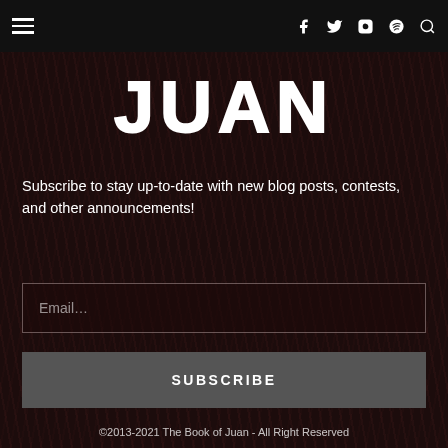Navigation bar with hamburger menu and social icons (f, Twitter, Instagram, Spotify, Search)
[Figure (logo): JUAN logo in large white bubble/outline font on dark textured background]
Subscribe to stay up-to-date with new blog posts, contests, and other announcements!
Email...
SUBSCRIBE
©2013-2021 The Book of Juan - All Right Reserved